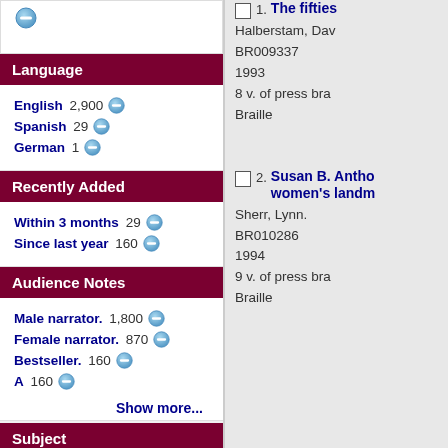Language
English 2,900
Spanish 29
German 1
Recently Added
Within 3 months 29
Since last year 160
Audience Notes
Male narrator. 1,800
Female narrator. 870
Bestseller. 160
A 160
Show more...
Subject
The fifties
Halberstam, Dav
BR009337
1993
8 v. of press bra
Braille
2. Susan B. Antho
women's landm
Sherr, Lynn.
BR010286
1994
9 v. of press bra
Braille